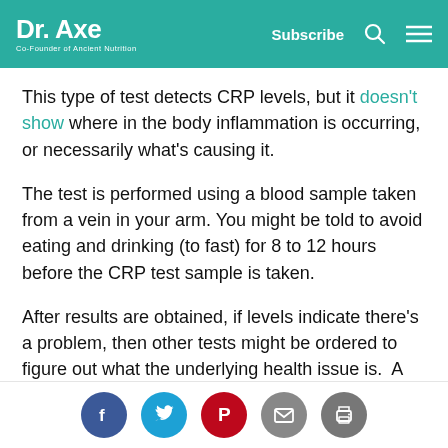Dr. Axe — Co-Founder of Ancient Nutrition | Subscribe
This type of test detects CRP levels, but it doesn't show where in the body inflammation is occurring, or necessarily what's causing it.
The test is performed using a blood sample taken from a vein in your arm. You might be told to avoid eating and drinking (to fast) for 8 to 12 hours before the CRP test sample is taken.
After results are obtained, if levels indicate there's a problem, then other tests might be ordered to figure out what the underlying health issue is. A panel of tests that may be used to help make a
Social share icons: Facebook, Twitter, Pinterest, Email, Print